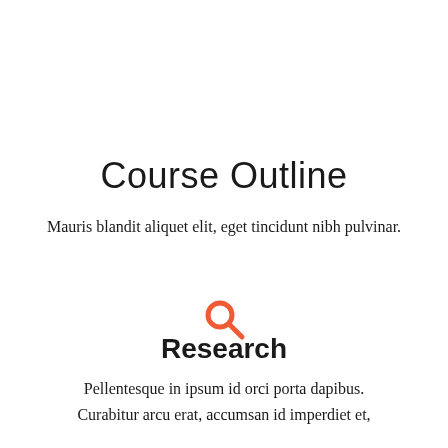Course Outline
Mauris blandit aliquet elit, eget tincidunt nibh pulvinar.
[Figure (illustration): Orange/red magnifying glass search icon]
Research
Pellentesque in ipsum id orci porta dapibus. Curabitur arcu erat, accumsan id imperdiet et, porttitor at sem.